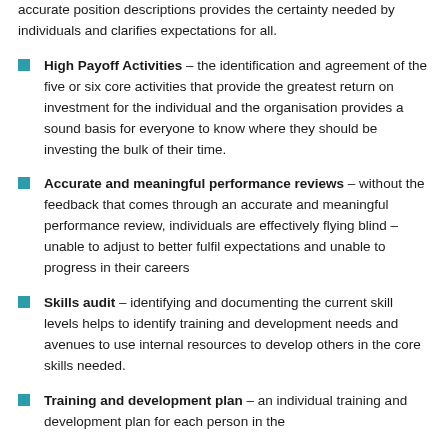accurate position descriptions provides the certainty needed by individuals and clarifies expectations for all.
High Payoff Activities – the identification and agreement of the five or six core activities that provide the greatest return on investment for the individual and the organisation provides a sound basis for everyone to know where they should be investing the bulk of their time.
Accurate and meaningful performance reviews – without the feedback that comes through an accurate and meaningful performance review, individuals are effectively flying blind – unable to adjust to better fulfil expectations and unable to progress in their careers
Skills audit – identifying and documenting the current skill levels helps to identify training and development needs and avenues to use internal resources to develop others in the core skills needed.
Training and development plan – an individual training and development plan for each person in the